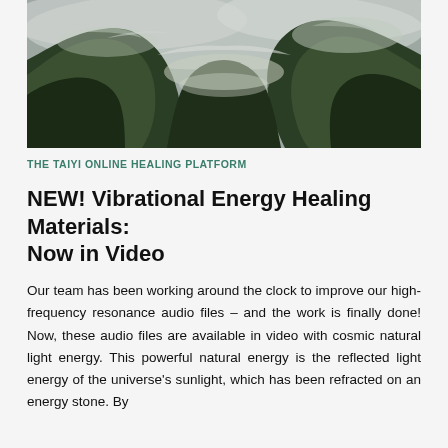[Figure (photo): Misty mountain landscape with lush green forested hills partially obscured by low clouds and fog, dark moody sky overhead]
THE TAIYI ONLINE HEALING PLATFORM
NEW! Vibrational Energy Healing Materials: Now in Video
Our team has been working around the clock to improve our high-frequency resonance audio files – and the work is finally done! Now, these audio files are available in video with cosmic natural light energy. This powerful natural energy is the reflected light energy of the universe's sunlight, which has been refracted on an energy stone. By